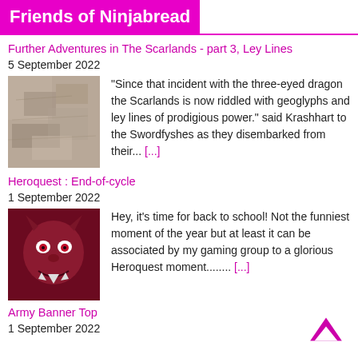Friends of Ninjabread
Further Adventures in The Scarlands - part 3, Ley Lines
5 September 2022
[Figure (photo): Stone texture photo thumbnail for Ley Lines post]
"Since that incident with the three-eyed dragon the Scarlands is now riddled with geoglyphs and ley lines of prodigious power." said Krashhart to the Swordfyshes as they disembarked from their... [...]
Heroquest : End-of-cycle
1 September 2022
[Figure (photo): Red demon/monster face illustration thumbnail for Heroquest post]
Hey, it's time for back to school! Not the funniest moment of the year but at least it can be associated by my gaming group to a glorious Heroquest moment........ [...]
Army Banner Top
1 September 2022